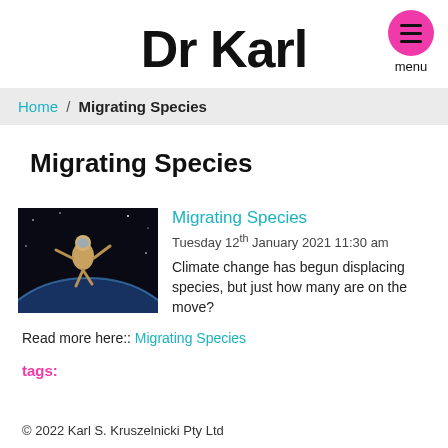Dr Karl
Home / Migrating Species
Migrating Species
[Figure (photo): Astronaut or figure floating in space above Earth, dark background with Earth's curvature visible below]
Migrating Species
Tuesday 12th January 2021 11:30 am
Climate change has begun displacing species, but just how many are on the move?
Read more here:: Migrating Species
tags:
© 2022 Karl S. Kruszelnicki Pty Ltd